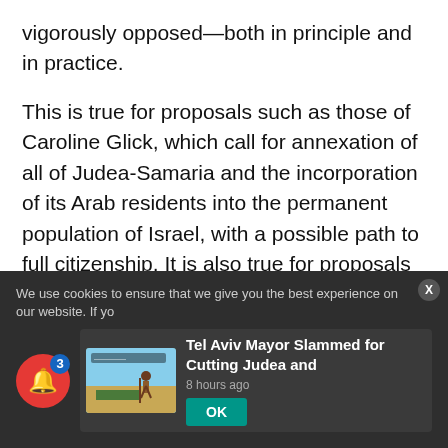vigorously opposed—both in principle and in practice.
This is true for proposals such as those of Caroline Glick, which call for annexation of all of Judea-Samaria and the incorporation of its Arab residents into the permanent population of Israel, with a possible path to full citizenship. It is also true for proposals such as Education Minister Naftali Bennett's partial annexation of Judea-Samaria and Dr. Mordechai Kedar's semi-autonomous city-state
We use cookies to ensure that we give you the best experience on our website. If yo
[Figure (screenshot): News notification card showing thumbnail of a figure in a desert scene with text 'Tel Aviv Mayor Slammed for Cutting Judea and' and timestamp '8 hours ago', with an OK button below]
Tel Aviv Mayor Slammed for Cutting Judea and
8 hours ago